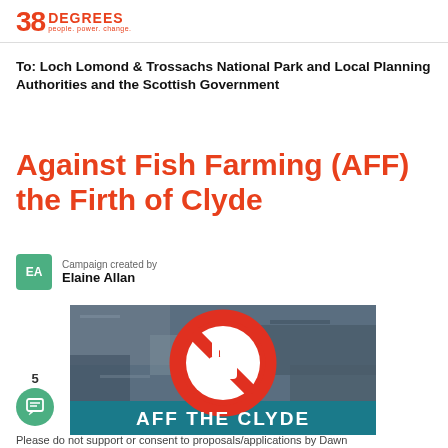38 DEGREES people. power. change.
To: Loch Lomond & Trossachs National Park and Local Planning Authorities and the Scottish Government
Against Fish Farming (AFF) the Firth of Clyde
Campaign created by Elaine Allan
[Figure (photo): A stop sign / no-entry hand symbol (red circle with diagonal bar over a white hand) against a rocky/water background, with text 'AFF THE CLYDE' in large white bold letters at the bottom of the image.]
Please do not support or consent to proposals/applications by Dawn